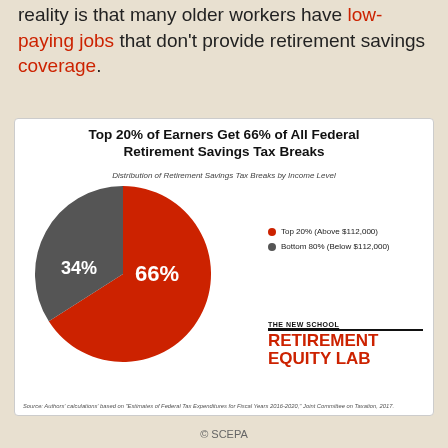reality is that many older workers have low-paying jobs that don't provide retirement savings coverage.
[Figure (pie-chart): Top 20% of Earners Get 66% of All Federal Retirement Savings Tax Breaks]
Source: Authors' calculations' based on "Estimates of Federal Tax Expenditures for Fiscal Years 2016-2020," Joint Committee on Taxation, 2017.
© SCEPA